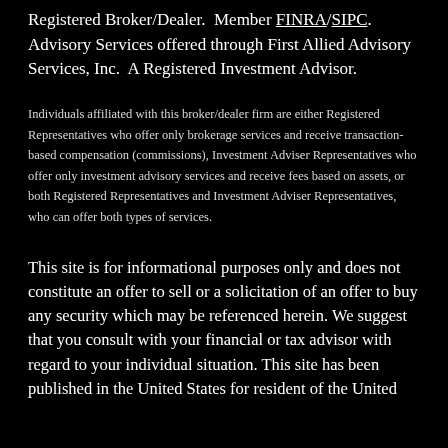Registered Broker/Dealer.  Member FINRA/SIPC.  Advisory Services offered through First Allied Advisory Services, Inc.  A Registered Investment Advisor.
Individuals affiliated with this broker/dealer firm are either Registered Representatives who offer only brokerage services and receive transaction-based compensation (commissions), Investment Adviser Representatives who offer only investment advisory services and receive fees based on assets, or both Registered Representatives and Investment Adviser Representatives, who can offer both types of services.
This site is for informational purposes only and does not constitute an offer to sell or a solicitation of an offer to buy any security which may be referenced herein. We suggest that you consult with your financial or tax advisor with regard to your individual situation. This site has been published in the United States for resident of the United